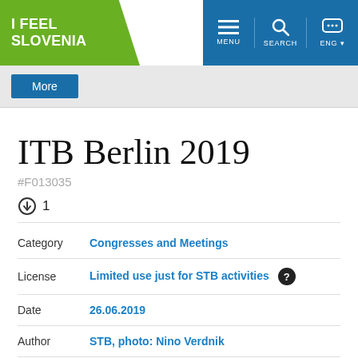[Figure (screenshot): I Feel Slovenia website header with green logo and blue navigation bar with MENU, SEARCH, ENG icons]
[Figure (screenshot): Blue More button on grey background bar]
ITB Berlin 2019
#F013035
1
| Field | Value |
| --- | --- |
| Category | Congresses and Meetings |
| License | Limited use just for STB activities |
| Date | 26.06.2019 |
| Author | STB, photo: Nino Verdnik |